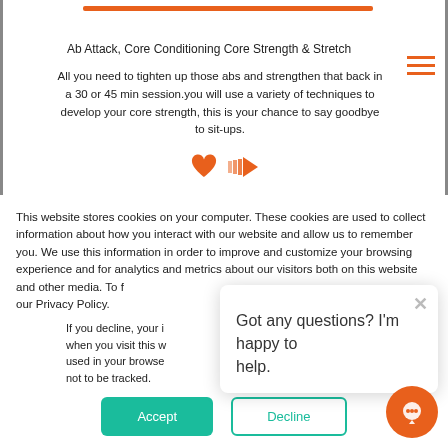Ab Attack, Core Conditioning Core Strength & Stretch
All you need to tighten up those abs and strengthen that back in a 30 or 45 min session.you will use a variety of techniques to develop your core strength, this is your chance to say goodbye to sit-ups.
[Figure (illustration): Orange heart icon and orange forward arrow icon]
This website stores cookies on your computer. These cookies are used to collect information about how you interact with our website and allow us to remember you. We use this information in order to improve and customize your browsing experience and for analytics and metrics about our visitors both on this website and other media. To f our Privacy Policy.
If you decline, your i when you visit this w used in your browse not to be tracked.
Got any questions? I'm happy to help.
[Figure (illustration): Chat bubble circular orange button icon]